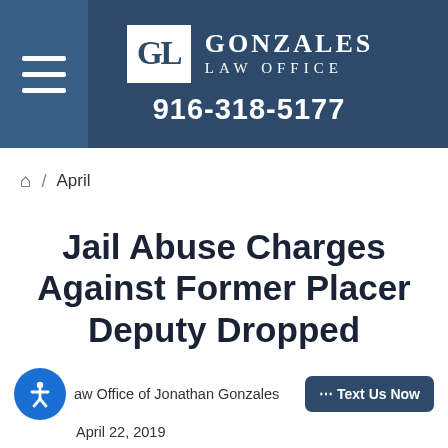GL Gonzales Law Office 916-318-5177
Home / April
Jail Abuse Charges Against Former Placer Deputy Dropped
Law Office of Jonathan Gonzales
April 22, 2019